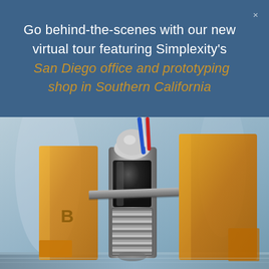Go behind-the-scenes with our new virtual tour featuring Simplexity's  San Diego office and prototyping shop in Southern California
[Figure (photo): Close-up photo of a mechanical prototype or engineering device featuring transparent amber/orange acrylic blocks housing a central metal cylindrical component with black and silver sections, small red and blue wires at the top, and a horizontal metal arm, mounted on a reflective surface with a blurred light blue background.]